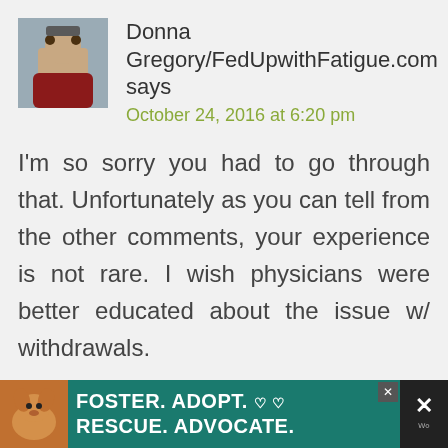Donna Gregory/FedUpwithFatigue.com says
October 24, 2016 at 6:20 pm
I'm so sorry you had to go through that. Unfortunately as you can tell from the other comments, your experience is not rare. I wish physicians were better educated about the issue w/ withdrawals.
Reply
[Figure (infographic): Advertisement banner: Foster. Adopt. Rescue. Advocate. with dog photo on teal background]